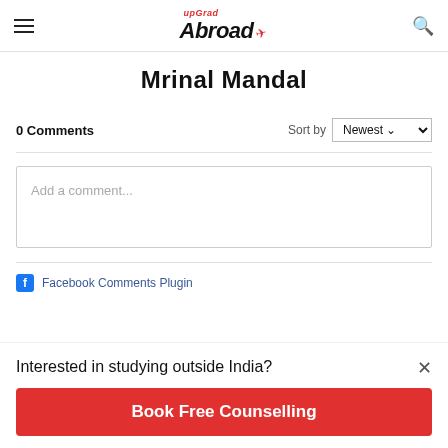upGrad Abroad
Mrinal Mandal
0 Comments
Sort by Newest
Add a comment...
Facebook Comments Plugin
Interested in studying outside India?
Book Free Counselling